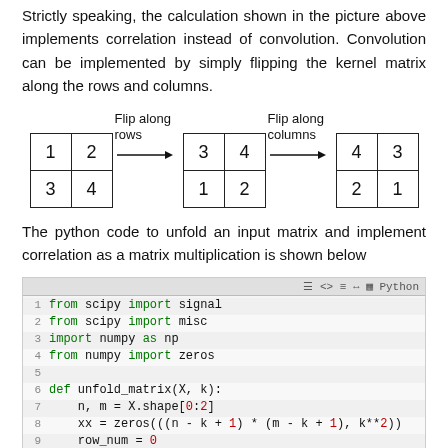Strictly speaking, the calculation shown in the picture above implements correlation instead of convolution. Convolution can be implemented by simply flipping the kernel matrix along the rows and columns.
[Figure (illustration): Diagram showing a 2x2 matrix [[1,2],[3,4]] being flipped along rows to produce [[3,4],[1,2]], then flipped along columns to produce [[4,3],[2,1]]. Arrows with labels 'Flip along rows' and 'Flip along columns' connect the matrices.]
The python code to unfold an input matrix and implement correlation as a matrix multiplication is shown below
[Figure (screenshot): Python code block showing: 1 from scipy import signal, 2 from scipy import misc, 3 import numpy as np, 4 from numpy import zeros, 5 (blank), 6 def unfold_matrix(X, k):, 7     n, m = X.shape[0:2], 8     xx = zeros(((n - k + 1) * (m - k + 1), k**2)), 9     row_num = 0, 10 def make_row(x):]